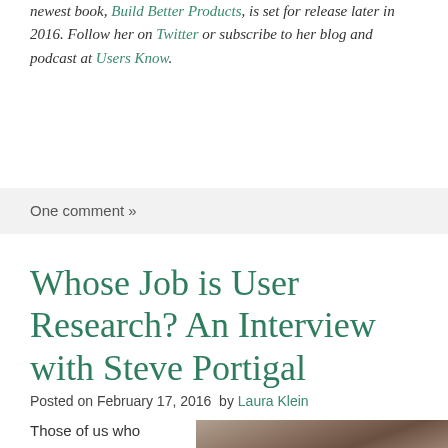newest book, Build Better Products, is set for release later in 2016. Follow her on Twitter or subscribe to her blog and podcast at Users Know.
One comment »
Whose Job is User Research? An Interview with Steve Portigal
Posted on February 17, 2016  by Laura Klein
Those of us who
[Figure (photo): Headshot photo of Steve Portigal]